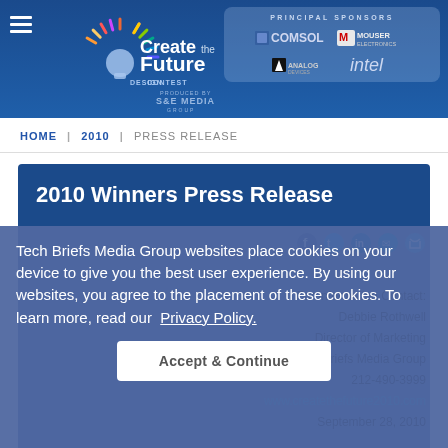Create the Future Design Contest — Principal Sponsors: COMSOL, MOUSER ELECTRONICS, ANALOG DEVICES, intel
HOME | 2010 | PRESS RELEASE
2010 Winners Press Release
Tech Briefs Media Group websites place cookies on your device to give you the best user experience. By using our websites, you agree to the placement of these cookies. To learn more, read our Privacy Policy.
Accept & Continue
For Information Contact:
Debbie Rothwell
Director of Marketing
Tech Briefs Media Group
212-490-3999
www.createthefuture2010.com
September 28, 2010